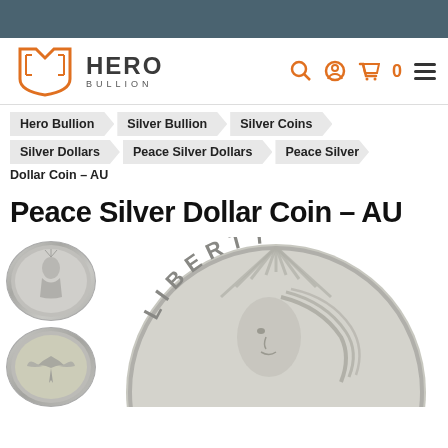Hero Bullion
Hero Bullion > Silver Bullion > Silver Coins > Silver Dollars > Peace Silver Dollars > Peace Silver Dollar Coin – AU
Peace Silver Dollar Coin – AU
[Figure (photo): Peace Silver Dollar coins — two small thumbnail views on the left (obverse showing Lady Liberty portrait, reverse showing eagle) and one large close-up of the obverse of the Peace Silver Dollar coin showing 'LIBERTY' text and Lady Liberty's face with radiating crown]